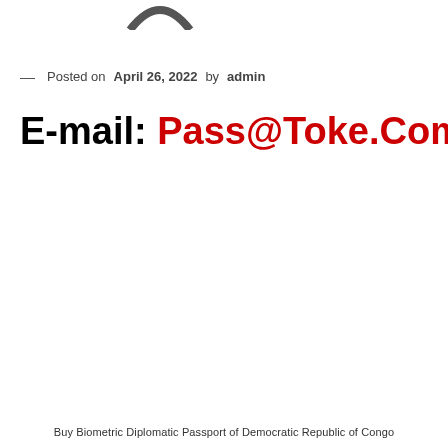— Posted on April 26, 2022 by admin
E-mail: Pass@Toke.Com
Buy Biometric Diplomatic Passport of Democratic Republic of Congo